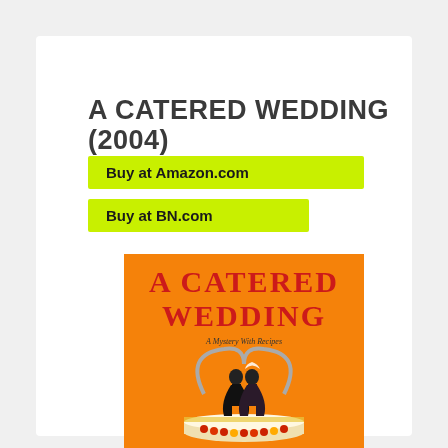A CATERED WEDDING (2004)
Buy at Amazon.com
Buy at BN.com
[Figure (illustration): Book cover of 'A Catered Wedding' — orange background with red/dark text title, two grim reaper figures as bride and groom on a wedding cake topper, a scythe forming a heart shape, with text 'A Mystery With Recipes']